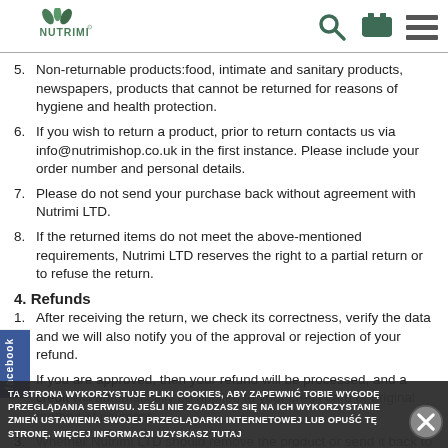NUTRIMI logo with search, cart, and menu icons
5. Non-returnable products:food, intimate and sanitary products, newspapers, products that cannot be returned for reasons of hygiene and health protection.
6. If you wish to return a product, prior to return contacts us via info@nutrimishop.co.uk in the first instance. Please include your order number and personal details.
7. Please do not send your purchase back without agreement with Nutrimi LTD.
8. If the returned items do not meet the above-mentioned requirements, Nutrimi LTD reserves the right to a partial return or to refuse the return.
4. Refunds
1. After receiving the return, we check its correctness, verify the data and we will also notify you of the approval or rejection of your refund.
2. If you are approved, then your refund will be processed, and a credit will automatically be applied to your credit card or original method of payment
3. Whether Nutrimi LTD should remove the product or send it back to the customer at his expense.
TA STRONA WYKORZYSTUJE PLIKI COOKIES, ABY ZAPEWNIĆ TOBIE WYGODĘ PRZEGLĄDANIA SERWISU. JEŚLI NIE ZGADZASZ SIĘ NA ICH WYKORZYSTANIE ZMIEŃ USTAWIENIA SWOJEJ PRZEGLĄDARKI INTERNETOWEJ LUB OPUŚĆ TĘ STRONĘ. WIĘCEJ INFORMACJI UZYSKASZ TUTAJ